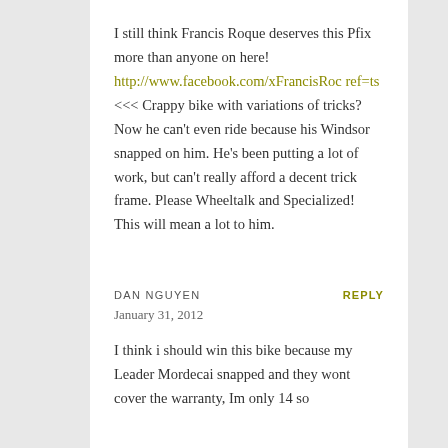I still think Francis Roque deserves this Pfix more than anyone on here! http://www.facebook.com/xFrancisRoc ref=ts <<< Crappy bike with variations of tricks? Now he can't even ride because his Windsor snapped on him. He's been putting a lot of work, but can't really afford a decent trick frame. Please Wheeltalk and Specialized! This will mean a lot to him.
DAN NGUYEN
REPLY
January 31, 2012
I think i should win this bike because my Leader Mordecai snapped and they wont cover the warranty, Im only 14 so